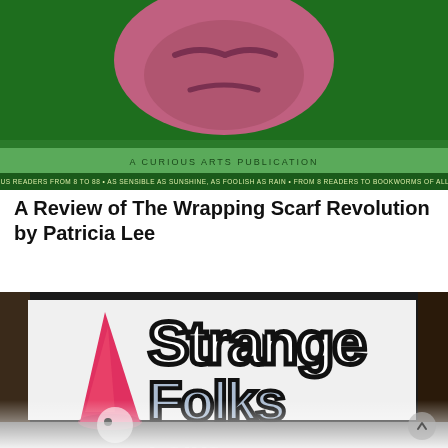[Figure (photo): Book cover image with green background, a pink/magenta face visible at top, lighter green stripe below with small text 'A CURIOUS ARTS PUBLICATION', and a bottom banner with small text in various languages.]
A Review of The Wrapping Scarf Revolution by Patricia Lee
[Figure (photo): Photo of a 'Strange Folks' sign or banner showing graffiti-style lettering in black and white with a gnome figure featuring a red/pink pointed hat on the left side. The bottom portion shows a reflection of the sign fading out.]